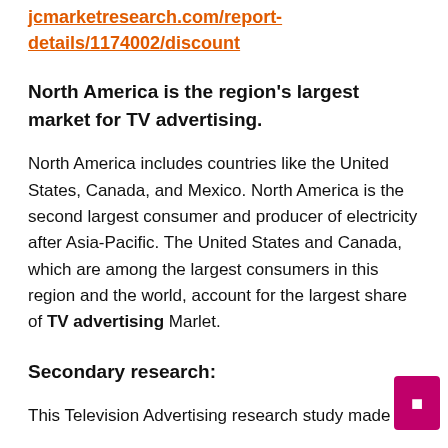jcmarketresearch.com/report-details/1174002/discount
North America is the region's largest market for TV advertising.
North America includes countries like the United States, Canada, and Mexico. North America is the second largest consumer and producer of electricity after Asia-Pacific. The United States and Canada, which are among the largest consumers in this region and the world, account for the largest share of TV advertising Marlet.
Secondary research:
This Television Advertising research study made